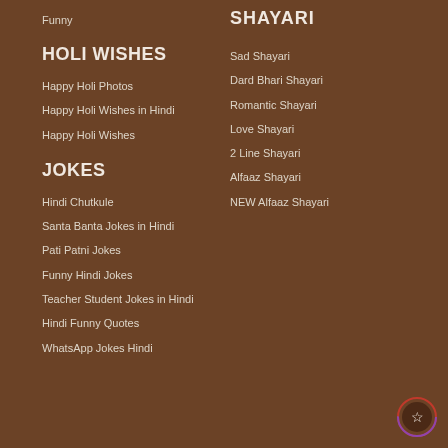Funny
HOLI WISHES
Happy Holi Photos
Happy Holi Wishes in Hindi
Happy Holi Wishes
JOKES
Hindi Chutkule
Santa Banta Jokes in Hindi
Pati Patni Jokes
Funny Hindi Jokes
Teacher Student Jokes in Hindi
Hindi Funny Quotes
WhatsApp Jokes Hindi
SHAYARI
Sad Shayari
Dard Bhari Shayari
Romantic Shayari
Love Shayari
2 Line Shayari
Alfaaz Shayari
NEW Alfaaz Shayari